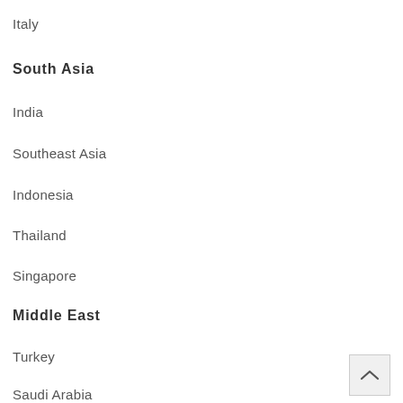Italy
South Asia
India
Southeast Asia
Indonesia
Thailand
Singapore
Middle East
Turkey
Saudi Arabia
Iran